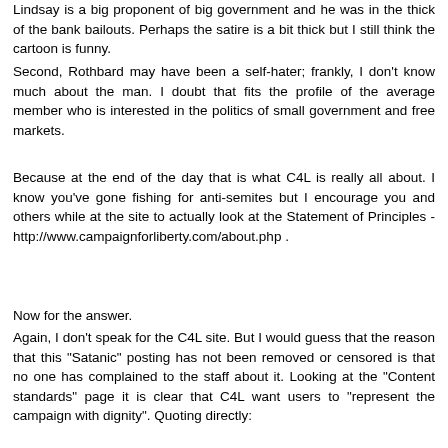Lindsay is a big proponent of big government and he was in the thick of the bank bailouts. Perhaps the satire is a bit thick but I still think the cartoon is funny.
Second, Rothbard may have been a self-hater; frankly, I don't know much about the man. I doubt that fits the profile of the average member who is interested in the politics of small government and free markets.
Because at the end of the day that is what C4L is really all about. I know you've gone fishing for anti-semites but I encourage you and others while at the site to actually look at the Statement of Principles - http://www.campaignforliberty.com/about.php .
Now for the answer.
Again, I don't speak for the C4L site. But I would guess that the reason that this "Satanic" posting has not been removed or censored is that no one has complained to the staff about it. Looking at the "Content standards" page it is clear that C4L want users to "represent the campaign with dignity". Quoting directly: